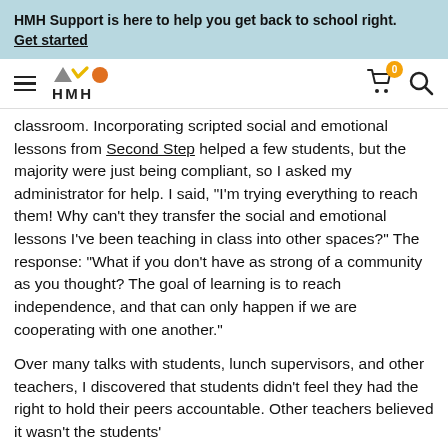HMH Support is here to help you get back to school right. Get started
[Figure (logo): HMH navigation bar with hamburger menu, HMH logo with geometric shapes (triangle, checkmark, circle in gray, yellow, orange), cart icon with badge showing 0, and search icon]
classroom. Incorporating scripted social and emotional lessons from Second Step helped a few students, but the majority were just being compliant, so I asked my administrator for help. I said, “I’m trying everything to reach them! Why can’t they transfer the social and emotional lessons I’ve been teaching in class into other spaces?” The response: “What if you don’t have as strong of a community as you thought? The goal of learning is to reach independence, and that can only happen if we are cooperating with one another.”
Over many talks with students, lunch supervisors, and other teachers, I discovered that students didn’t feel they had the right to hold their peers accountable. Other teachers believed it wasn’t the students’